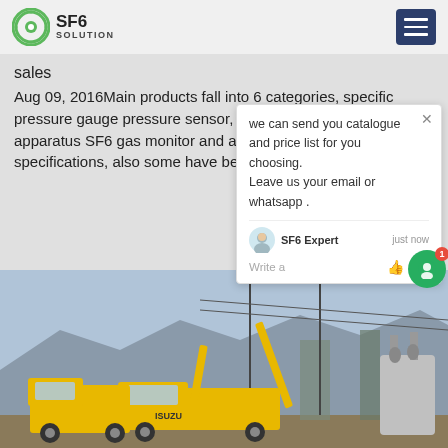SF6 SOLUTION
sales
Aug 09, 2016Main products fall into 6 categories, specific pressure gauge pressure sensor, load cell, electronic weighing apparatus SF6 gas monitor and automatic engineering, specifications, also some have been with national patents.
[Figure (photo): Yellow ISUZU truck and crane vehicle at an electrical substation with large transformers and pylons in the background]
we can send you catalogue and price list for you choosing. Leave us your email or whatsapp .
SF6 Expert    just now
Write a